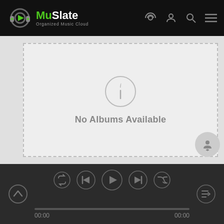MuSlate - Organized Music Cloud
[Figure (screenshot): Empty state music app screen showing 'No Albums Available' message with info icon inside a dashed border box]
No Albums Available
[Figure (infographic): Music player bottom bar with playback controls: repeat, previous, play, next, shuffle buttons, progress bar showing 00:00 to 00:00]